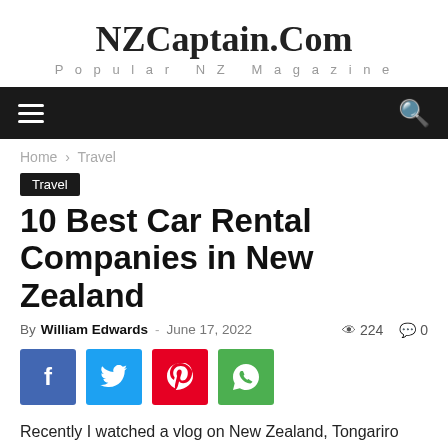NZCaptain.Com
Popular NZ Magazine
[Figure (screenshot): Navigation bar with hamburger menu icon on left and search icon on right, black background]
Home › Travel
Travel
10 Best Car Rental Companies in New Zealand
By William Edwards - June 17, 2022   224   0
[Figure (infographic): Social share buttons: Facebook (blue), Twitter (light blue), Pinterest (red), WhatsApp (green)]
Recently I watched a vlog on New Zealand, Tongariro National Park, Hobbiton, Bay of Islands, Waiheke Island, Lake